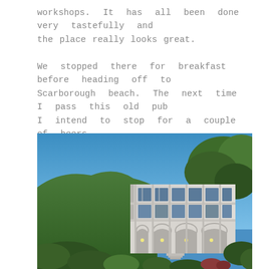workshops. It has all been done very tastefully and the place really looks great.
We stopped there for breakfast before heading off to Scarborough beach. The next time I pass this old pub I intend to stop for a couple of beers...
[Figure (photo): A multi-storey modern building with white/grey render, large windows, arched ground-floor openings, surrounded by green trees and bushes under a bright blue sky, with a forested hillside in the background.]